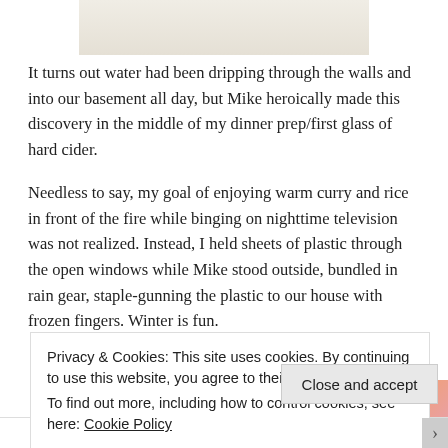[Figure (photo): Partial view of a flower or plant image cropped at the top of the page]
It turns out water had been dripping through the walls and into our basement all day, but Mike heroically made this discovery in the middle of my dinner prep/first glass of hard cider.
Needless to say, my goal of enjoying warm curry and rice in front of the fire while binging on nighttime television was not realized. Instead, I held sheets of plastic through the open windows while Mike stood outside, bundled in rain gear, staple-gunning the plastic to our house with frozen fingers. Winter is fun.
[Figure (photo): Partial orange and pink banner image with italic bold text partially visible]
Privacy & Cookies: This site uses cookies. By continuing to use this website, you agree to their use.
To find out more, including how to control cookies, see here: Cookie Policy